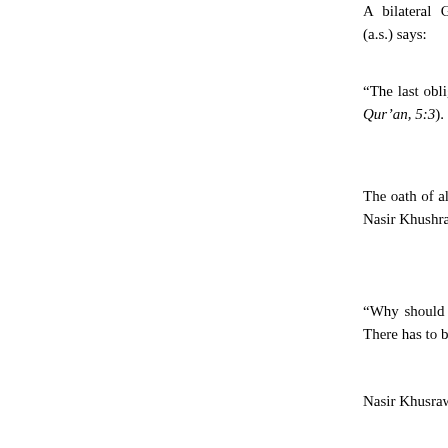A bilateral Guardianship (al-Walaya) between [...] established. Al-Walaya is so crucial that many ge[...] Baqir (a.s.) says:
“The last obligatory duty that Allah sent down [...] designated by Allah). Then, He sent down the verse: [...] (Holy Qur’an, 5:3).
The oath of allegiance offered to Hazrat Ali at G[...] (48:10) concerning the bayah is too important to [...] thinking Nasir Khushraw, who is not yet an Ismail[...] him:
“Why should later believers be deprived of this rewa[...] they were not born in the time of the Prophet? Wh[...] There has to be someone at whose hand the oath to A[...]
Nasir Khusraw does not despair. His resolve and qu[...] Fatimid Imam al-Mustansir bi Allah (a.s.) awaits him[...]
The complete event at Ghadir-Khumm — the cara[...] gathering at one location of widely dispersed pilgrim[...] Allah’s Message revealed by our Holy Prophet M[...]